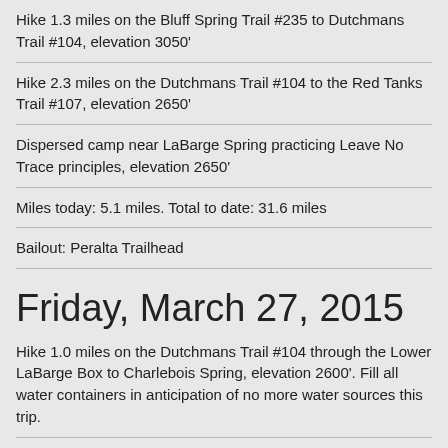Hike 1.3 miles on the Bluff Spring Trail #235 to Dutchmans Trail #104, elevation 3050'
Hike 2.3 miles on the Dutchmans Trail #104 to the Red Tanks Trail #107, elevation 2650'
Dispersed camp near LaBarge Spring practicing Leave No Trace principles, elevation 2650'
Miles today: 5.1 miles. Total to date: 31.6 miles
Bailout: Peralta Trailhead
Friday, March 27, 2015
Hike 1.0 miles on the Dutchmans Trail #104 through the Lower LaBarge Box to Charlebois Spring, elevation 2600'. Fill all water containers in anticipation of no more water sources this trip.
Hike 1.4 miles on the Dutchmans Trail #104 to